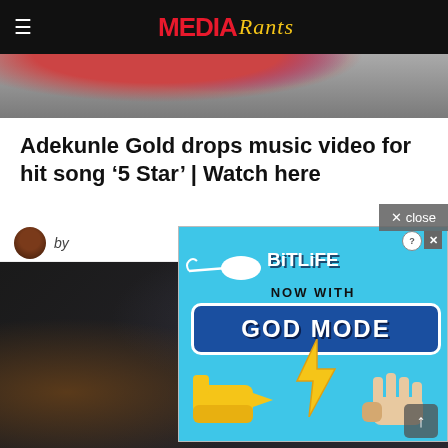Media Rants
[Figure (photo): Partial hero image showing colorful hair (red and purple) at top of article]
Adekunle Gold drops music video for hit song ‘5 Star’ | Watch here
× close
by
[Figure (advertisement): BitLife app advertisement showing sperm logo, 'BitLife NOW WITH GOD MODE' text with lightning bolt, pointing finger emoji hand and reaching hand illustration on light blue background]
[Figure (photo): Dark background content image showing a person in low light]